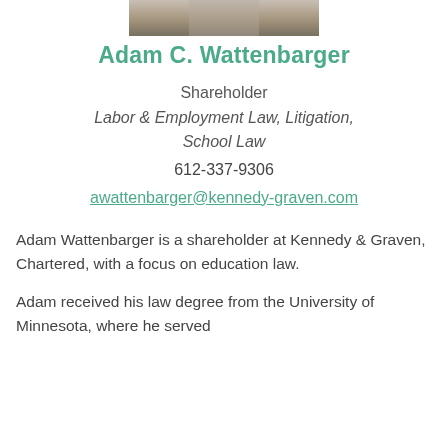[Figure (photo): Partial photo of Adam C. Wattenbarger, cropped at the shoulders, showing a man in business attire.]
Adam C. Wattenbarger
Shareholder
Labor & Employment Law, Litigation, School Law
612-337-9306
awattenbarger@kennedy-graven.com
Adam Wattenbarger is a shareholder at Kennedy & Graven, Chartered, with a focus on education law.
Adam received his law degree from the University of Minnesota, where he served